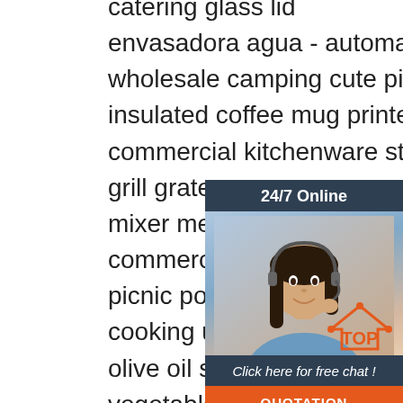catering glass lid
envasadora agua - automatic cup sealer filler
wholesale camping cute pink stainless steel
insulated coffee mug printed logo c...
commercial kitchenware stainless s...
grill grate
mixer meat mincer industrial doubl...
commercial electric meat grinder
picnic portable gadgets sprayer oil...
cooking utensils kitchen tools salad...
olive oil spray bottle
vegetable chopper food herb mill cutter mincer
stainless steel blades slicer dicer cutter
condiment grater spice grinder
high quality kitchen sink stainless steel kitchen
double sinks stainless steel basins round bowl
drainer...
[Figure (infographic): 24/7 Online customer service chat widget with a photo of a woman wearing a headset, a 'Click here for free chat!' prompt, and an orange QUOTATION button. Below the list, an orange TOP logo/badge is visible.]